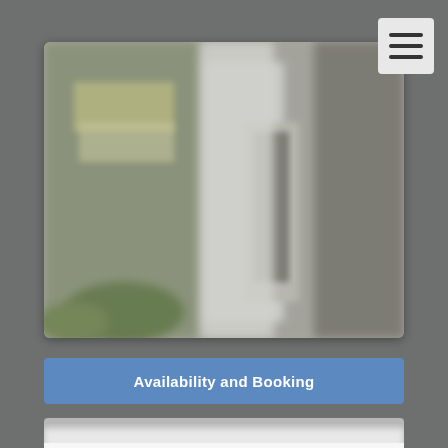[Figure (photo): Blurred exterior photo of a building or accommodation, showing white walls, a door, green plants, and signage. The image is somewhat blurry/out of focus.]
Availability and Booking
[Figure (photo): Partially visible blurred white/grey content area at the bottom of the page.]